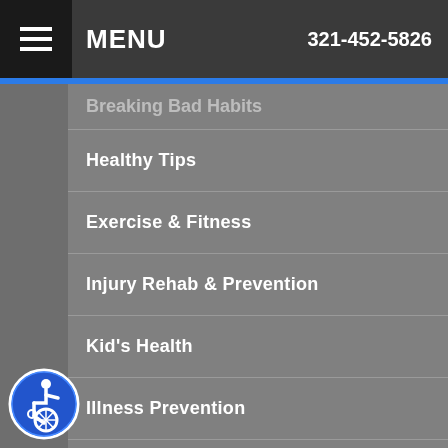MENU  321-452-5826
Breaking Bad Habits
Healthy Tips
Exercise & Fitness
Injury Rehab & Prevention
Kid's Health
Illness Prevention
Chronic Conditions
Nutrition & Healthy Eating